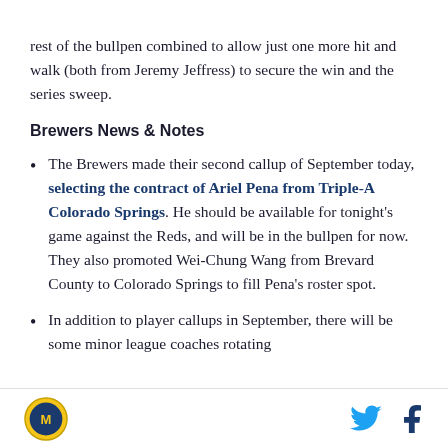rest of the bullpen combined to allow just one more hit and walk (both from Jeremy Jeffress) to secure the win and the series sweep.
Brewers News & Notes
The Brewers made their second callup of September today, selecting the contract of Ariel Pena from Triple-A Colorado Springs. He should be available for tonight's game against the Reds, and will be in the bullpen for now. They also promoted Wei-Chung Wang from Brevard County to Colorado Springs to fill Pena's roster spot.
In addition to player callups in September, there will be some minor league coaches rotating
Brewers logo, Twitter icon, Facebook icon